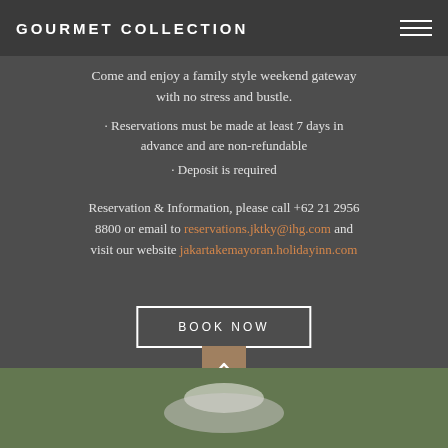GOURMET COLLECTION
Come and enjoy a family style weekend gateway with no stress and bustle.
· Reservations must be made at least 7 days in advance and are non-refundable
· Deposit is required
Reservation & Information, please call +62 21 2956 8800 or email to reservations.jktky@ihg.com and visit our website jakartakemayoran.holidayinn.com
BOOK NOW
[Figure (photo): Person lying on green grass, viewed from above]